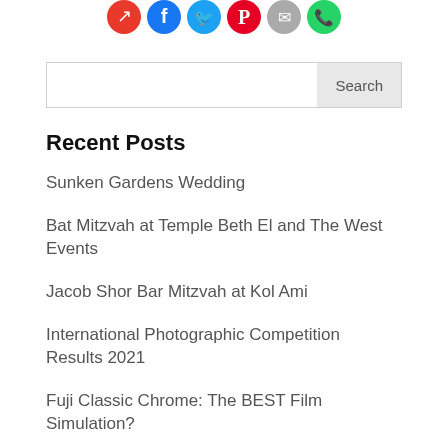[Figure (illustration): Row of social media share icon circles: red arrow share icon, Facebook (blue), Twitter (light blue), Pinterest (red), email (gray), WhatsApp (green)]
Search
Recent Posts
Sunken Gardens Wedding
Bat Mitzvah at Temple Beth El and The West Events
Jacob Shor Bar Mitzvah at Kol Ami
International Photographic Competition Results 2021
Fuji Classic Chrome: The BEST Film Simulation?